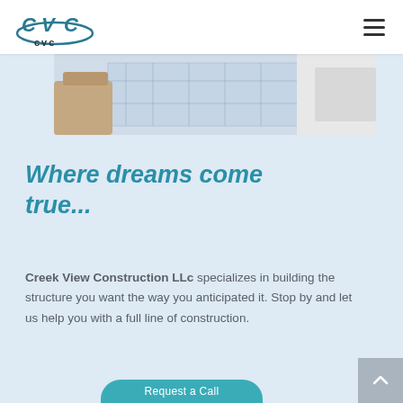CVC logo and navigation
[Figure (photo): Partial photograph of hands reviewing architectural blueprints on a table]
Where dreams come true...
Creek View Construction LLc specializes in building the structure you want the way you anticipated it. Stop by and let us help you with a full line of construction.